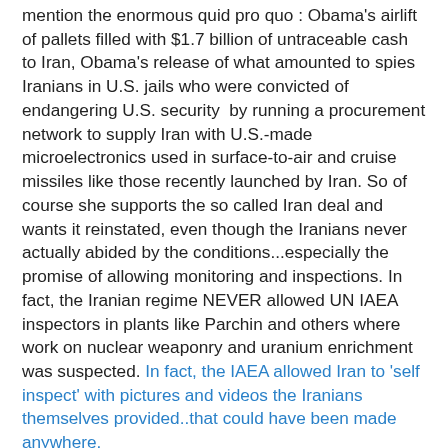mention the enormous quid pro quo : Obama's airlift of pallets filled with $1.7 billion of untraceable cash to Iran, Obama's release of what amounted to spies Iranians in U.S. jails who were convicted of endangering U.S. security by running a procurement network to supply Iran with U.S.-made microelectronics used in surface-to-air and cruise missiles like those recently launched by Iran. So of course she supports the so called Iran deal and wants it reinstated, even though the Iranians never actually abided by the conditions...especially the promise of allowing monitoring and inspections. In fact, the Iranian regime NEVER allowed UN IAEA inspectors in plants like Parchin and others where work on nuclear weaponry and uranium enrichment was suspected. In fact, the IAEA allowed Iran to 'self inspect' with pictures and videos the Iranians themselves provided..that could have been made anywhere.
The Iranians were also allowed to keep working on ballistic missiles as part of the deal. This when they are officially still in a state of war with America and have been since 1979...and were holding rallies burning American and Israeli flags and screaming "Death to Israel! Death To America!